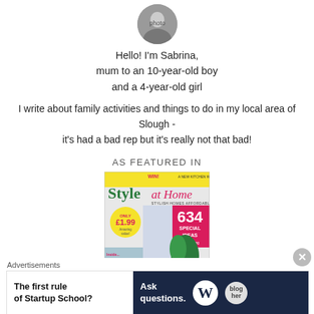[Figure (photo): Circular profile photo of Sabrina]
Hello! I'm Sabrina,
mum to an 10-year-old boy
and a 4-year-old girl
I write about family activities and things to do in my local area of Slough - it's had a bad rep but it's really not that bad!
AS FEATURED IN
[Figure (photo): Style at Home magazine cover showing Christmas tree, woman, '634 Special Ideas', '7 Tree Trends', 'Only £1.99']
Advertisements
[Figure (other): Advertisement banner: 'The first rule of Startup School?' with WordPress logo and Ask questions branding]